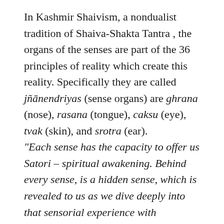In Kashmir Shaivism, a nondualist tradition of Shaiva-Shakta Tantra , the organs of the senses are part of the 36 principles of reality which create this reality. Specifically they are called jñānendriyas (sense organs) are ghrana (nose), rasana (tongue), caksu (eye), tvak (skin), and srotra (ear). "Each sense has the capacity to offer us Satori – spiritual awakening. Behind every sense, is a hidden sense, which is revealed to us as we dive deeply into that sensorial experience with awareness. Behind the outer eyes is the third eye, through which clairvoyance is awakened. Hidden inside the two ears, is the third ear, through which we can awaken clairaudience. And deep